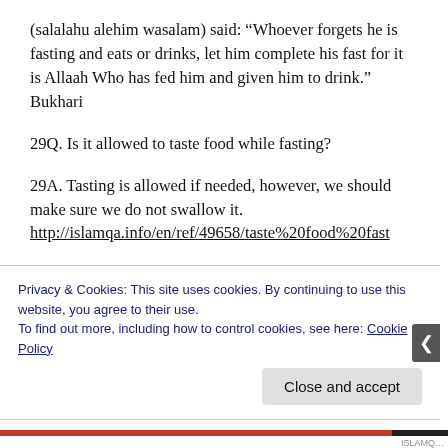(salalahu alehim wasalam) said: “Whoever forgets he is fasting and eats or drinks, let him complete his fast for it is Allaah Who has fed him and given him to drink.” Bukhari
29Q. Is it allowed to taste food while fasting?
29A. Tasting is allowed if needed, however, we should make sure we do not swallow it. http://islamqa.info/en/ref/49658/taste%20food%20fast
30Q. What if one mistakenly swallows the food while tasting it? Is the Fast valid?
Privacy & Cookies: This site uses cookies. By continuing to use this website, you agree to their use.
To find out more, including how to control cookies, see here: Cookie Policy